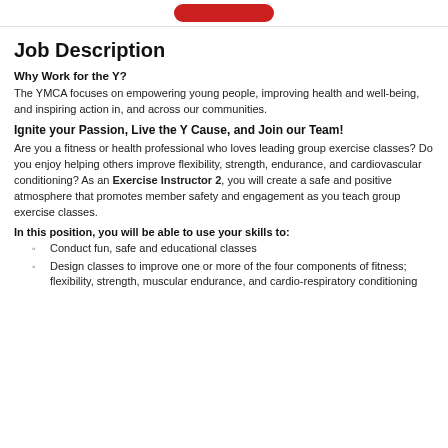[Figure (logo): YMCA red logo partially visible at top of page]
Job Description
Why Work for the Y?
The YMCA focuses on empowering young people, improving health and well-being, and inspiring action in, and across our communities.
Ignite your Passion, Live the Y Cause, and Join our Team!
Are you a fitness or health professional who loves leading group exercise classes? Do you enjoy helping others improve flexibility, strength, endurance, and cardiovascular conditioning? As an Exercise Instructor 2, you will create a safe and positive atmosphere that promotes member safety and engagement as you teach group exercise classes.
In this position, you will be able to use your skills to:
Conduct fun, safe and educational classes
Design classes to improve one or more of the four components of fitness; flexibility, strength, muscular endurance, and cardio-respiratory conditioning